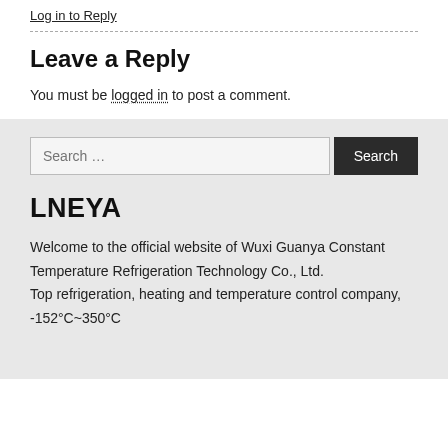Log in to Reply
Leave a Reply
You must be logged in to post a comment.
Search …
LNEYA
Welcome to the official website of Wuxi Guanya Constant Temperature Refrigeration Technology Co., Ltd.
Top refrigeration, heating and temperature control company, -152°C~350°C